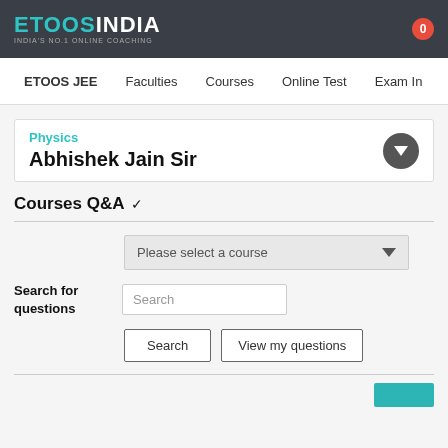ETOOS INDIA — INDIA'S NO.1 ONLINE COACHING
ETOOS JEE | Faculties | Courses | Online Test | Exam In
Physics
Abhishek Jain Sir
Courses Q&A ✓
Please select a course
Search for questions
Search
Search | View my questions